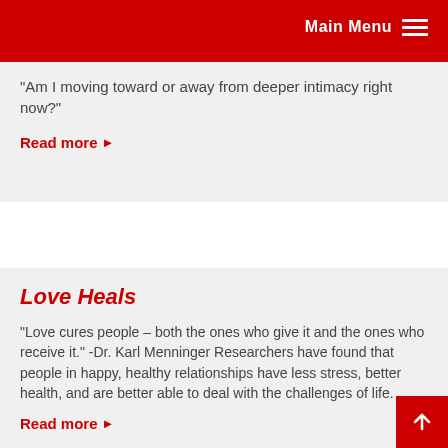Main Menu
"Am I moving toward or away from deeper intimacy right now?"
Read more
Love Heals
"Love cures people – both the ones who give it and the ones who receive it." -Dr. Karl Menninger Researchers have found that people in happy, healthy relationships have less stress, better health, and are better able to deal with the challenges of life.
Read more